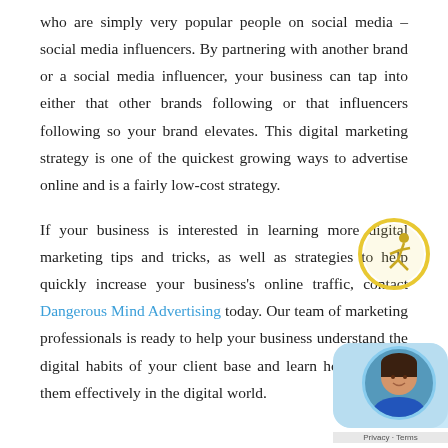who are simply very popular people on social media – social media influencers. By partnering with another brand or a social media influencer, your business can tap into either that other brands following or that influencers following so your brand elevates. This digital marketing strategy is one of the quickest growing ways to advertise online and is a fairly low-cost strategy.
If your business is interested in learning more digital marketing tips and tricks, as well as strategies to help quickly increase your business's online traffic, contact Dangerous Mind Advertising today. Our team of marketing professionals is ready to help your business understand the digital habits of your client base and learn how to reach them effectively in the digital world.
[Figure (logo): Circular logo with yellow/gold border showing a stick figure in motion]
[Figure (photo): Chat bubble overlay with a woman's avatar photo and Privacy/Terms bar]